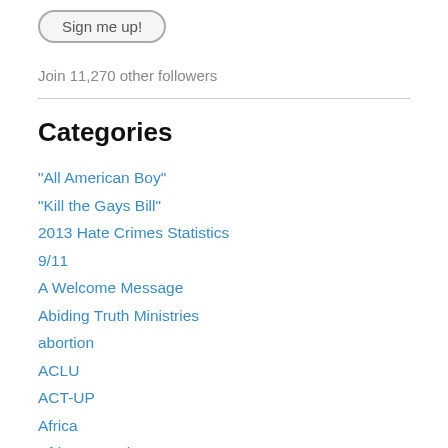[Figure (other): A rounded button partially visible at the top with text 'Sign me up!']
Join 11,270 other followers
Categories
"All American Boy"
"Kill the Gays Bill"
2013 Hate Crimes Statistics
9/11
A Welcome Message
Abiding Truth Ministries
abortion
ACLU
ACT-UP
Africa
African Americans
AIDS Healthcare Foundation
Alabama
Alliance of Baptists